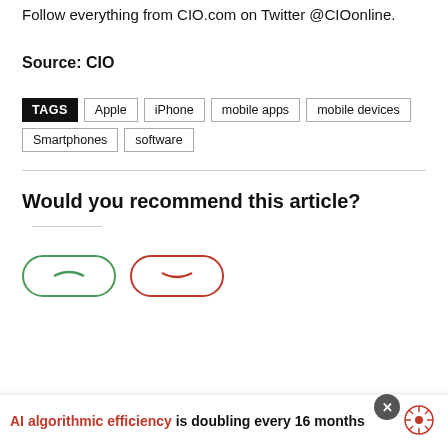Follow everything from CIO.com on Twitter @CIOonline.
Source: CIO
TAGS  Apple  iPhone  mobile apps  mobile devices  Smartphones  software
Would you recommend this article?
AI algorithmic efficiency is doubling every 16 months